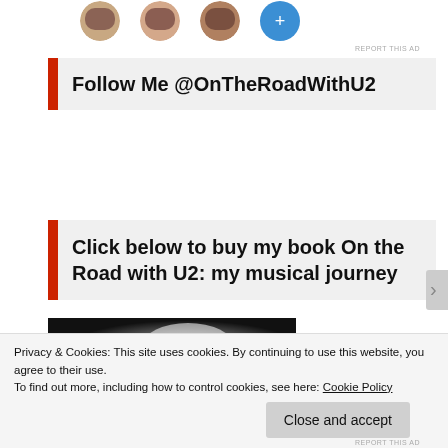[Figure (photo): Top strip showing partial circular profile photos of people against white background]
REPORT THIS AD
Follow Me @OnTheRoadWithU2
Click below to buy my book On the Road with U2: my musical journey
[Figure (photo): Dark book cover image with bright light in center, partial view]
REPORT THIS AD
Privacy & Cookies: This site uses cookies. By continuing to use this website, you agree to their use.
To find out more, including how to control cookies, see here: Cookie Policy
Close and accept